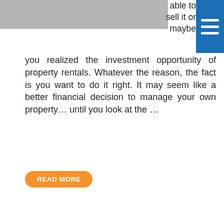[Figure (photo): Partial photo strip at top of page, grey/muted tones]
able to sell it or maybe you realized the investment opportunity of property rentals. Whatever the reason, the fact is you want to do it right. It may seem like a better financial decision to manage your own property… until you look at the …
READ MORE
Filed Under: Blog, Property Management
Tagged With: Choosing a property management company, DFW Property Management, Hiring a property management company, Leap property management, Property management rates
6 PROPERTY MANAGEMENT FEES YOU SHOULD NEVER PAY